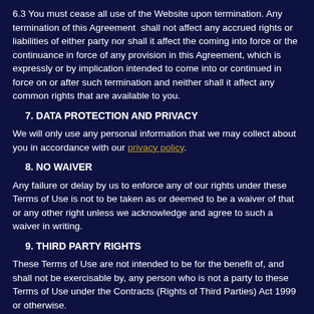6.3 You must cease all use of the Website upon termination. Any termination of this Agreement shall not affect any accrued rights or liabilities of either party nor shall it affect the coming into force or the continuance in force of any provision in this Agreement, which is expressly or by implication intended to come into or continued in force on or after such termination and neither shall it affect any common rights that are available to you.
7. DATA PROTECTION AND PRIVACY
We will only use any personal information that we may collect about you in accordance with our privacy policy.
8. NO WAIVER
Any failure or delay by us to enforce any of our rights under these Terms of Use is not to be taken as or deemed to be a waiver of that or any other right unless we acknowledge and agree to such a waiver in writing.
9. THIRD PARTY RIGHTS
These Terms of Use are not intended to be for the benefit of, and shall not be exercisable by, any person who is not a party to these Terms of Use under the Contracts (Rights of Third Parties) Act 1999 or otherwise.
10. SEVERABILITY